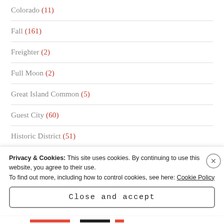Colorado (11)
Fall (161)
Freighter (2)
Full Moon (2)
Great Island Common (5)
Guest City (60)
Historic District (51)
Privacy & Cookies: This site uses cookies. By continuing to use this website, you agree to their use.
To find out more, including how to control cookies, see here: Cookie Policy
Close and accept